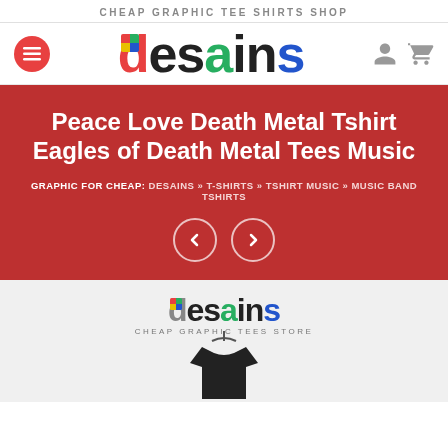CHEAP GRAPHIC TEE SHIRTS SHOP
[Figure (logo): Desains colorful logo with quadrant-colored D square, rainbow-colored lettering]
Peace Love Death Metal Tshirt Eagles of Death Metal Tees Music
GRAPHIC FOR CHEAP: DESAINS » T-SHIRTS » TSHIRT MUSIC » MUSIC BAND TSHIRTS
[Figure (logo): Desains logo with CHEAP GRAPHIC TEES STORE subtitle, shown on product page with a t-shirt on hanger]